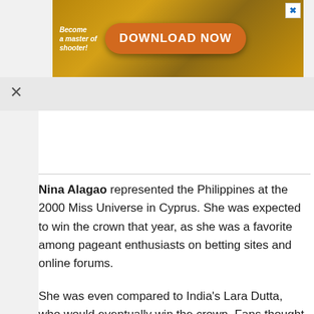[Figure (screenshot): Advertisement banner with orange/golden game theme, text 'Become a master of shooter!' on the left, a large orange 'DOWNLOAD NOW' button in the center, and game-themed graphics on the right with a close X button.]
Nina Alagao represented the Philippines at the 2000 Miss Universe in Cyprus. She was expected to win the crown that year, as she was a favorite among pageant enthusiasts on betting sites and online forums.
She was even compared to India's Lara Dutta, who would eventually win the crown. Fans thought Alagao lost because of